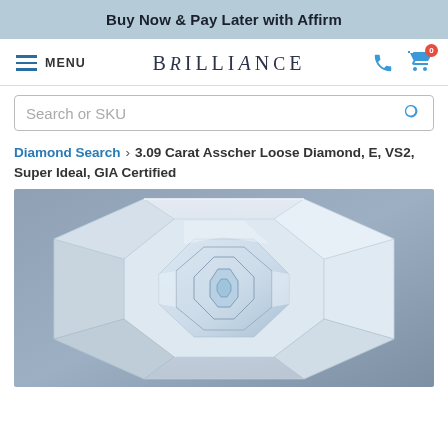Buy Now & Pay Later with Affirm
MENU | BRILLIANCE | phone | cart (0)
Search or SKU
Diamond Search › 3.09 Carat Asscher Loose Diamond, E, VS2, Super Ideal, GIA Certified
[Figure (photo): Close-up photograph of an Asscher cut diamond viewed from slightly above, showing the step-cut facets and characteristic hall-of-mirrors pattern. The diamond is clear/white, photographed against a grey-blue gradient background.]